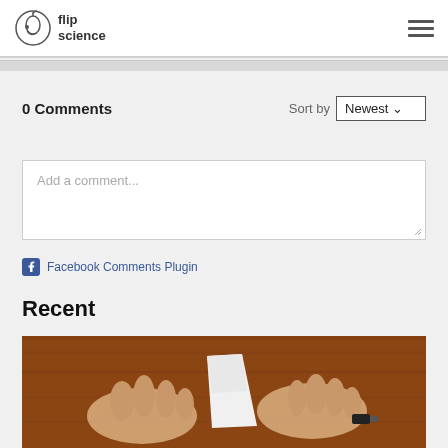flip science
0 Comments
Sort by Newest
Add a comment...
Facebook Comments Plugin
Recent
[Figure (photo): Hands holding a small folded piece of white paper over a wooden surface]